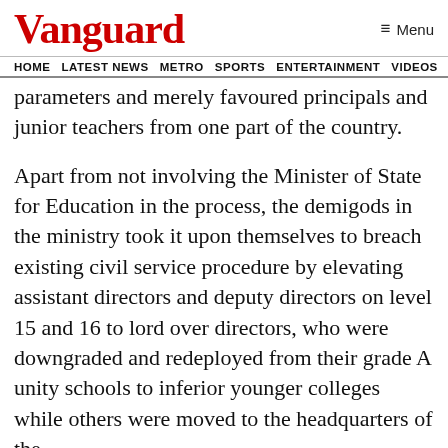Vanguard
HOME  LATEST NEWS  METRO  SPORTS  ENTERTAINMENT  VIDEOS
parameters and merely favoured principals and junior teachers from one part of the country.
Apart from not involving the Minister of State for Education in the process, the demigods in the ministry took it upon themselves to breach existing civil service procedure by elevating assistant directors and deputy directors on level 15 and 16 to lord over directors, who were downgraded and redeployed from their grade A unity schools to inferior younger colleges while others were moved to the headquarters of the